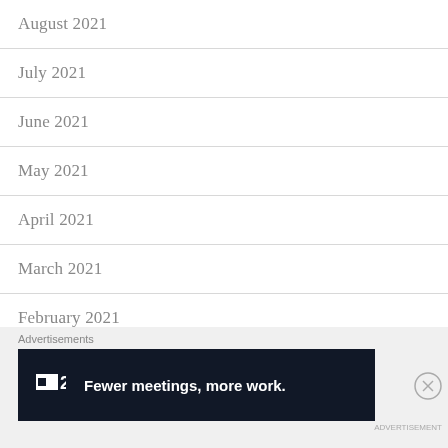August 2021
July 2021
June 2021
May 2021
April 2021
March 2021
February 2021
January 2021
December 2020
Advertisements
[Figure (other): Advertisement banner: F2 logo with text 'Fewer meetings, more work.' on dark background]